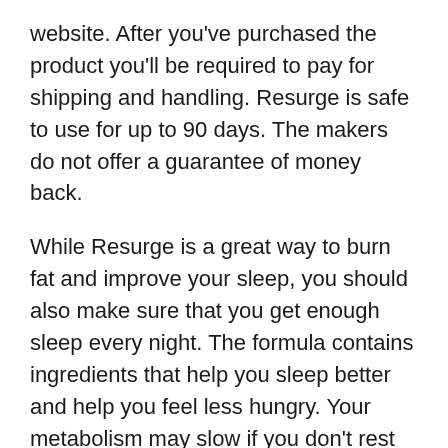website. After you've purchased the product you'll be required to pay for shipping and handling. Resurge is safe to use for up to 90 days. The makers do not offer a guarantee of money back.
While Resurge is a great way to burn fat and improve your sleep, you should also make sure that you get enough sleep every night. The formula contains ingredients that help you sleep better and help you feel less hungry. Your metabolism may slow if you don't rest enough. You might eat more than you should. Additionally, you could feel more hungry and this could lead to weight increase. To increase your energy levels you must not sleep in the night.